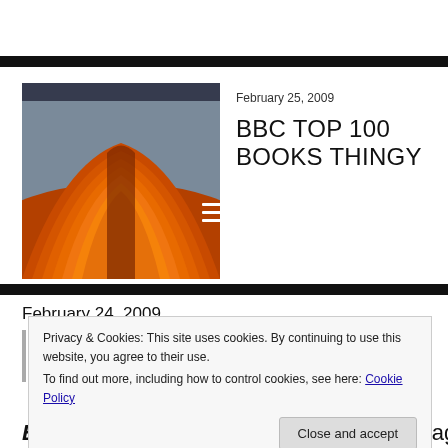[Figure (other): Black horizontal bar separator]
[Figure (photo): Close-up photo of an open book with orange/red pages fanned out]
February 25, 2009
BBC TOP 100 BOOKS THINGY
[Figure (other): Black horizontal bar separator]
February 24, 2009
Privacy & Cookies: This site uses cookies. By continuing to use this website, you agree to their use.
To find out more, including how to control cookies, see here: Cookie Policy
Close and accept
Bite me! Now all of a sudden you are outraged